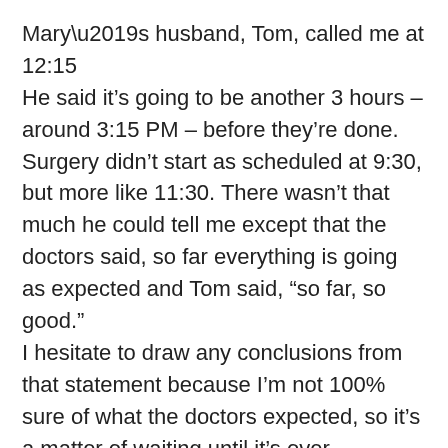Mary’s husband, Tom, called me at 12:15
He said it’s going to be another 3 hours – around 3:15 PM – before they’re done. Surgery didn’t start as scheduled at 9:30, but more like 11:30. There wasn’t that much he could tell me except that the doctors said, so far everything is going as expected and Tom said, “so far, so good.”
I hesitate to draw any conclusions from that statement because I’m not 100% sure of what the doctors expected, so it’s a matter of waiting until it’s over.
I’ll keep you posted. Keep praying, please!
Alice
~~~~~~~~~~~~~~~~~
From Alice May 9, 2006, 2:00PM
Tom called at 1:15, but we had a bad connection. We finally connected.
The operation is over. Mary was being sewn up. Tom said